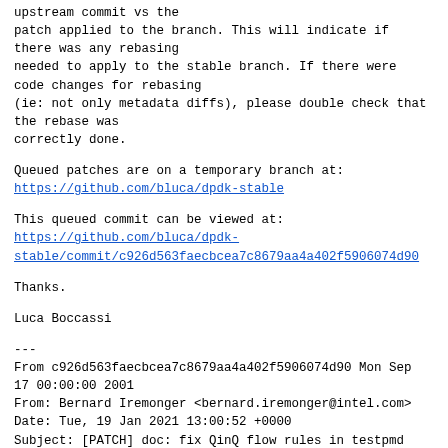upstream commit vs the
patch applied to the branch. This will indicate if
there was any rebasing
needed to apply to the stable branch. If there were
code changes for rebasing
(ie: not only metadata diffs), please double check that
the rebase was
correctly done.
Queued patches are on a temporary branch at:
https://github.com/bluca/dpdk-stable
This queued commit can be viewed at:
https://github.com/bluca/dpdk-stable/commit/c926d563faecbcea7c8679aa4a402f5906074d90
Thanks.
Luca Boccassi
---
From c926d563faecbcea7c8679aa4a402f5906074d90 Mon Sep
17 00:00:00 2001
From: Bernard Iremonger <bernard.iremonger@intel.com>
Date: Tue, 19 Jan 2021 13:00:52 +0000
Subject: [PATCH] doc: fix QinQ flow rules in testpmd
guide
[ upstream commit
836cdce48822f31316849adc00086e17131908d7 ]